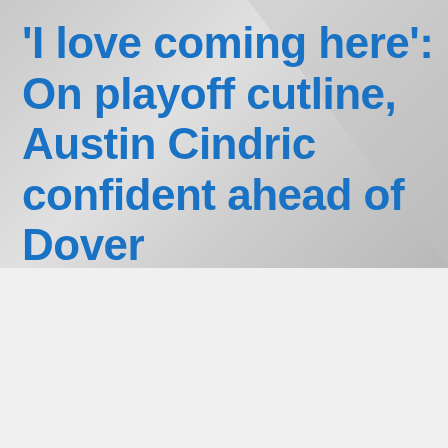'I love coming here': On playoff cutline, Austin Cindric confident ahead of Dover
[Figure (photo): Photo of Austin Cindric wearing a black Pirtek cap, shown from chest up against a light grey background]